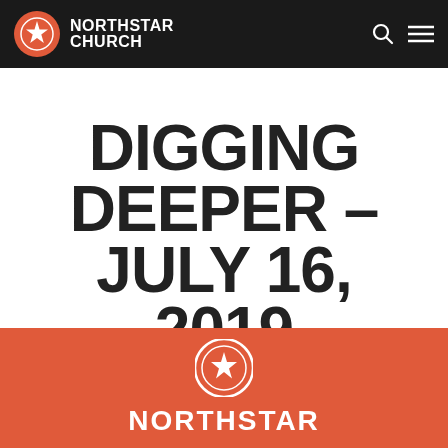NORTHSTAR CHURCH
DIGGING DEEPER – JULY 16, 2019
[Figure (logo): Northstar Church red banner logo with star icon and partial text 'NORTHSTAR' visible]